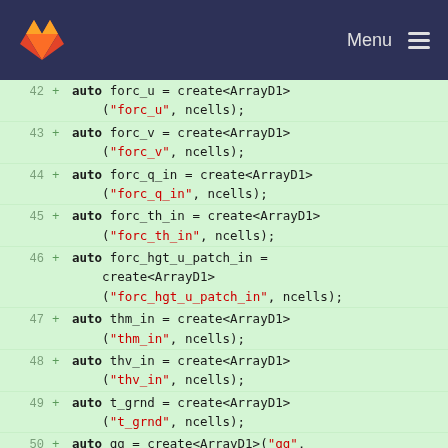GitLab — Menu
[Figure (screenshot): Code diff view showing C++ lines 42-51 with added lines (green background), each declaring auto variables using create<ArrayD1> with string name and ncells parameters.]